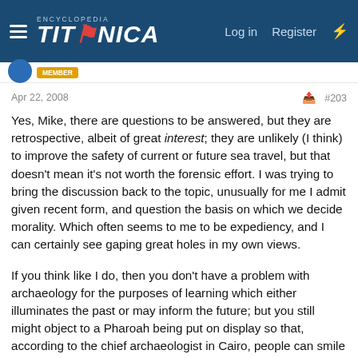Encyclopedia Titanica — Log in | Register
Apr 22, 2008   #203
Yes, Mike, there are questions to be answered, but they are retrospective, albeit of great interest; they are unlikely (I think) to improve the safety of current or future sea travel, but that doesn't mean it's not worth the forensic effort. I was trying to bring the discussion back to the topic, unusually for me I admit given recent form, and question the basis on which we decide morality. Which often seems to me to be expediency, and I can certainly see gaping great holes in my own views.
If you think like I do, then you don't have a problem with archaeology for the purposes of learning which either illuminates the past or may inform the future; but you still might object to a Pharoah being put on display so that, according to the chief archaeologist in Cairo, people can smile at his young toothy face. The gentleman in question is on record as saying displaying King Tut is the best way of bringing him closer to his